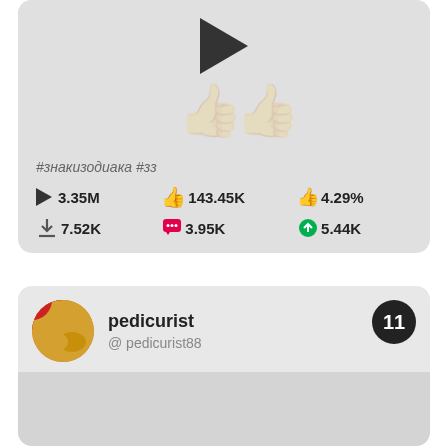[Figure (screenshot): Video card with play button, hashtags, and engagement stats showing 3.35M views, 143.45K likes, 4.29% engagement rate, 7.52K downloads, 3.95K comments, 5.44K shares]
#знакизодиака #зз
3.35M  143.45K  4.29%  7.52K  3.95K  5.44K
[Figure (screenshot): User profile card for pedicurist / @pedicurist88 with badge number 11]